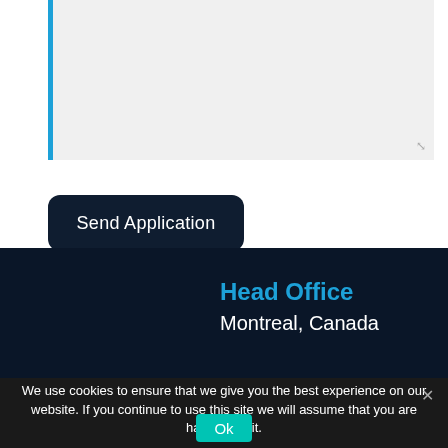[Figure (screenshot): A textarea input field with a blue left border on a light gray background, showing a resize handle in the bottom-right corner.]
[Figure (screenshot): A dark navy rounded button labeled 'Send Application' in white text.]
Head Office
Montreal, Canada
We use cookies to ensure that we give you the best experience on our website. If you continue to use this site we will assume that you are happy with it. ×
[Figure (screenshot): A teal/cyan 'Ok' button in the cookie consent banner.]